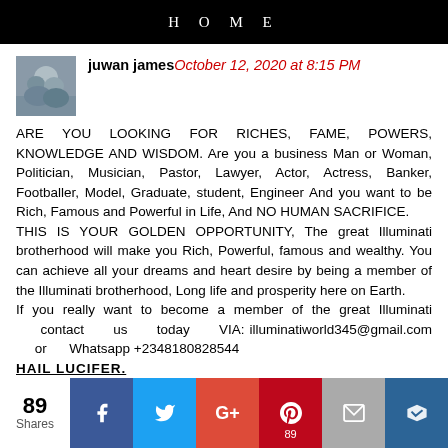HOME
juwan james October 12, 2020 at 8:15 PM
ARE YOU LOOKING FOR RICHES, FAME, POWERS, KNOWLEDGE AND WISDOM. Are you a business Man or Woman, Politician, Musician, Pastor, Lawyer, Actor, Actress, Banker, Footballer, Model, Graduate, student, Engineer And you want to be Rich, Famous and Powerful in Life, And NO HUMAN SACRIFICE. THIS IS YOUR GOLDEN OPPORTUNITY, The great Illuminati brotherhood will make you Rich, Powerful, famous and wealthy. You can achieve all your dreams and heart desire by being a member of the Illuminati brotherhood, Long life and prosperity here on Earth. If you really want to become a member of the great Illuminati contact us today VIA: illuminatiworld345@gmail.com or Whatsapp +2348180828544 HAIL LUCIFER.
89 Shares | Facebook | Twitter | Google+ | Pinterest 89 | Email | Crown